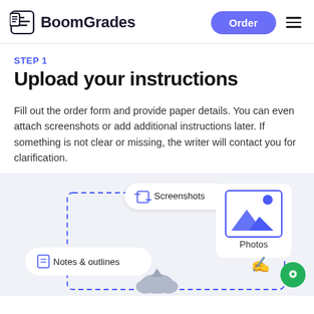BoomGrades — Order
STEP 1
Upload your instructions
Fill out the order form and provide paper details. You can even attach screenshots or add additional instructions later. If something is not clear or missing, the writer will contact you for clarification.
[Figure (illustration): Illustration showing a dashed upload area with cards: Screenshots, Notes & outlines, Photos (with image icon and hand cursor), and a cloud upload icon below.]